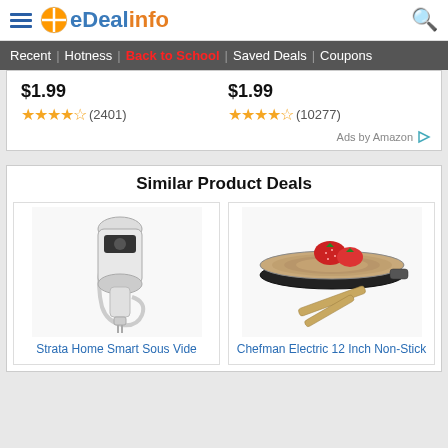eDealinfo
Recent | Hotness | Back to School | Saved Deals | Coupons
$1.99 ★★★★★ (2401)   $1.99 ★★★★★ (10277)
Ads by Amazon
Similar Product Deals
[Figure (photo): Strata Home Smart Sous Vide - white immersion circulator device]
[Figure (photo): Chefman Electric 12 Inch Non-Stick crepe maker with strawberries on top and wooden spreader]
Strata Home Smart Sous Vide
Chefman Electric 12 Inch Non-Stick